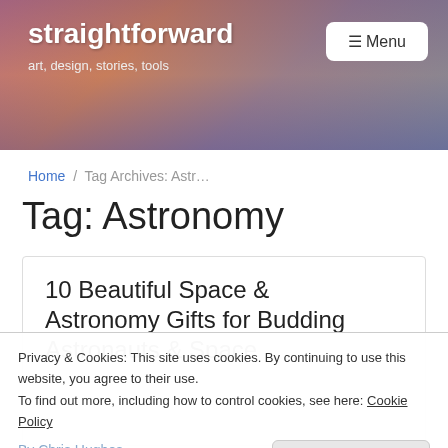straightforward — art, design, stories, tools
Home / Tag Archives: Astr…
Tag: Astronomy
10 Beautiful Space & Astronomy Gifts for Budding Astronauts & Space
Privacy & Cookies: This site uses cookies. By continuing to use this website, you agree to their use. To find out more, including how to control cookies, see here: Cookie Policy
By Chris Hughes
Leave a comment